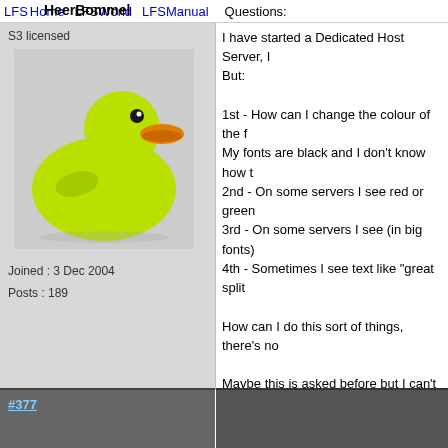LFSHome  LFSWorld  LFSManual  Questions:
HeerBommel
S3 licensed
[Figure (illustration): Green rubber duck avatar image]
Joined : 3 Dec 2004
Posts : 189
I have started a Dedicated Host Server, But:

1st - How can I change the colour of the f
My fonts are black and I don't know how t
2nd - On some servers I see red or green
3rd - On some servers I see (in big fonts)
4th - Sometimes I see text like "great split

How can I do this sort of things, there's no

Maybe this is asked before but I can't find
[Figure (screenshot): Attached images showing LFS dedicated server screenshots]
#377